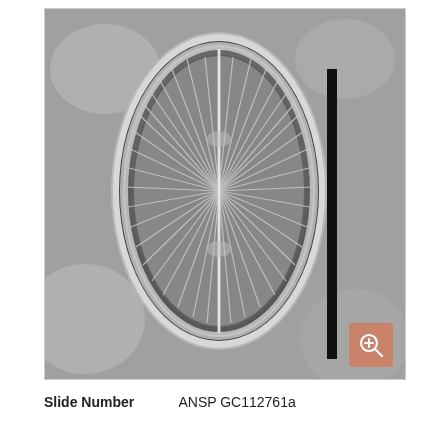[Figure (photo): Microscope image of a diatom (oval/elliptical shaped) in grayscale, showing detailed internal structure with radial striae patterns and a central raphe. A black scale bar is visible on the right side of the specimen. The background is mottled gray.]
Slide Number    ANSP GC112761a